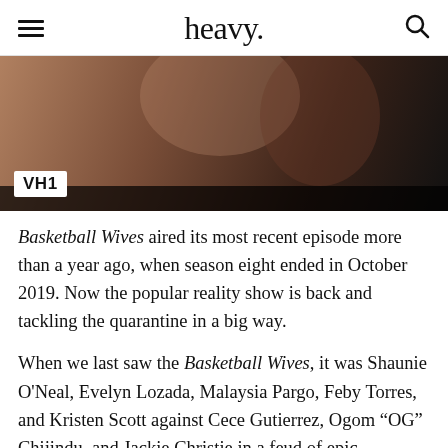heavy.
[Figure (photo): A still image from Basketball Wives on VH1, showing people in the background with a VH1 logo badge in the lower left corner.]
Basketball Wives aired its most recent episode more than a year ago, when season eight ended in October 2019. Now the popular reality show is back and tackling the quarantine in a big way.
When we last saw the Basketball Wives, it was Shaunie O'Neal, Evelyn Lozada, Malaysia Pargo, Feby Torres, and Kristen Scott against Cece Gutierrez, Ogom “OG” Chijindu, and Jackie Christie in a feud of epic proportions. The season eight